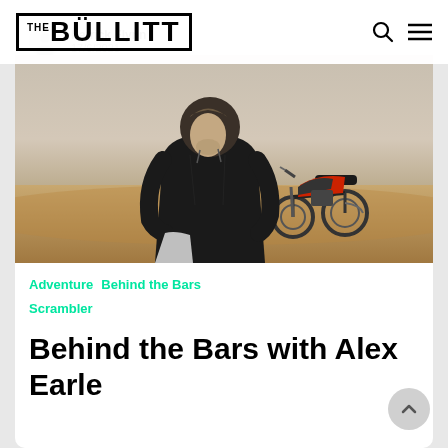The Bullitt
Patrick Flynn · 17/6/2021
[Figure (photo): Man in dark hoodie standing in a desert landscape, looking down, with a scrambler motorcycle parked in the background under a hazy sky.]
Adventure   Behind the Bars   Scrambler
Behind the Bars with Alex Earle